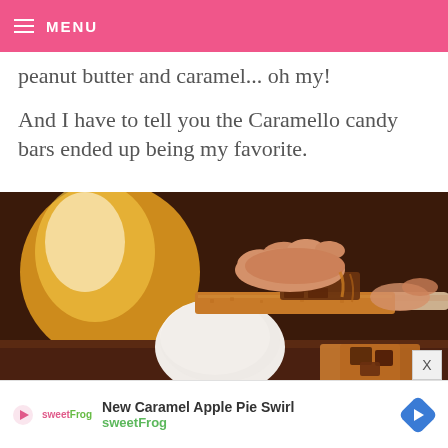MENU
peanut butter and caramel... oh my!
And I have to tell you the Caramello candy bars ended up being my favorite.
[Figure (photo): Hands assembling a s'more with graham cracker and marshmallow in front of a fire, with chocolate pieces visible on the right side.]
New Caramel Apple Pie Swirl sweetFrog